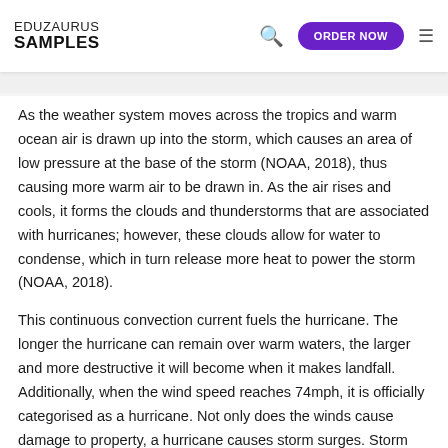EDUZAURUS SAMPLES | ORDER NOW
As the weather system moves across the tropics and warm ocean air is drawn up into the storm, which causes an area of low pressure at the base of the storm (NOAA, 2018), thus causing more warm air to be drawn in. As the air rises and cools, it forms the clouds and thunderstorms that are associated with hurricanes; however, these clouds allow for water to condense, which in turn release more heat to power the storm (NOAA, 2018).
This continuous convection current fuels the hurricane. The longer the hurricane can remain over warm waters, the larger and more destructive it will become when it makes landfall. Additionally, when the wind speed reaches 74mph, it is officially categorised as a hurricane. Not only does the winds cause damage to property, a hurricane causes storm surges. Storm surges are the level of seawater during a storm and